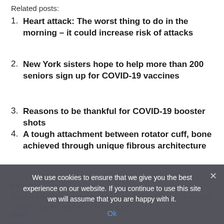Related posts:
Heart attack: The worst thing to do in the morning – it could increase risk of attacks
New York sisters hope to help more than 200 seniors sign up for COVID-19 vaccines
Reasons to be thankful for COVID-19 booster shots
A tough attachment between rotator cuff, bone achieved through unique fibrous architecture
Previous
Boston patient removed from heart-transplant list because he's not vaccinated against COVID: report
Next
Diabetes: The food that significantly lowers blood sugar and...
We use cookies to ensure that we give you the best experience on our website. If you continue to use this site we will assume that you are happy with it.
Ok